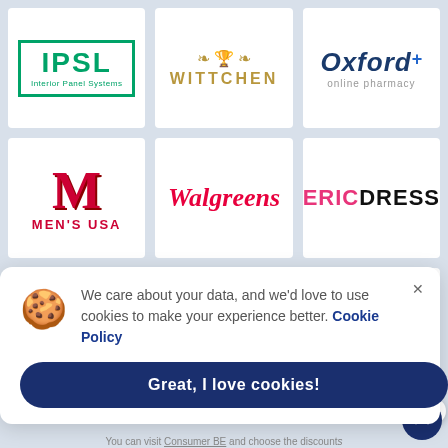[Figure (logo): IPSL Interior Panel Systems logo - green border rectangle with IPSL text]
[Figure (logo): WITTCHEN logo in gold with decorative crest]
[Figure (logo): Oxford+ online pharmacy logo in navy blue and gray]
[Figure (logo): Men's USA logo with large red M and red text]
[Figure (logo): Walgreens logo in red script]
[Figure (logo): EricDress logo with pink ERIC and black DRESS]
[Figure (logo): Partial red logo with two red blocks visible]
[Figure (logo): Partial center logo partially obscured]
[Figure (logo): Holiday Canvas partial logo in purple and gold]
We care about your data, and we'd love to use cookies to make your experience better. Cookie Policy
Great, I love cookies!